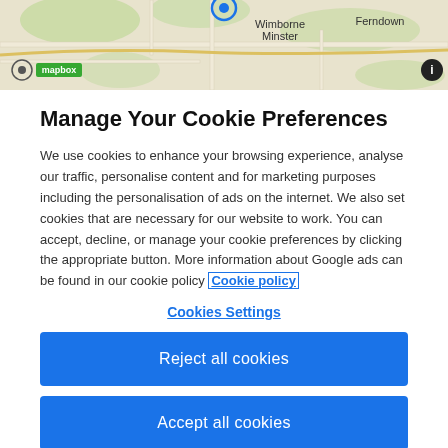[Figure (map): A Mapbox map showing the area around Wimborne Minster and Ferndown in Dorset, UK. The map has a beige/tan background with roads, green areas, and blue water features. The Mapbox logo and an info icon are visible.]
Manage Your Cookie Preferences
We use cookies to enhance your browsing experience, analyse our traffic, personalise content and for marketing purposes including the personalisation of ads on the internet. We also set cookies that are necessary for our website to work. You can accept, decline, or manage your cookie preferences by clicking the appropriate button. More information about Google ads can be found in our cookie policy Cookie policy
Cookies Settings
Reject all cookies
Accept all cookies